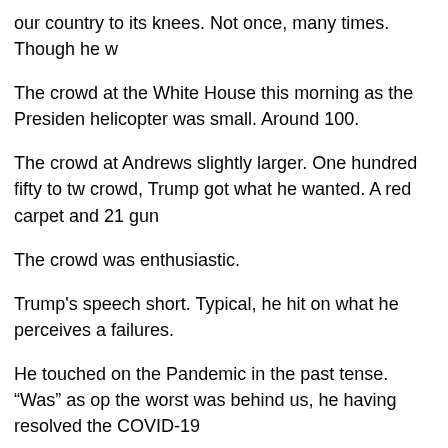our country to its knees. Not once, many times. Though he w
The crowd at the White House this morning as the Presiden helicopter was small. Around 100.
The crowd at Andrews slightly larger. One hundred fifty to tw crowd, Trump got what he wanted. A red carpet and 21 gun
The crowd was enthusiastic.
Trump's speech short. Typical, he hit on what he perceives a failures.
He touched on the Pandemic in the past tense. “Was” as op the worst was behind us, he having resolved the COVID-19
His “successes” reflected the great foundation he was leavin his.